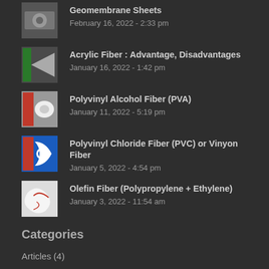Geomembrane Sheets
February 16, 2022 - 2:33 pm
Acrylic Fiber : Advantage, Disadvantages
January 16, 2022 - 1:42 pm
Polyvinyl Alcohol Fiber (PVA)
January 11, 2022 - 5:19 pm
Polyvinyl Chloride Fiber (PVC) or Vinyon Fiber
January 5, 2022 - 4:54 pm
Olefin Fiber (Polypropylene + Ethylene)
January 3, 2022 - 11:54 am
Categories
Articles (4)
geomembrane (9)
geotextile (0)